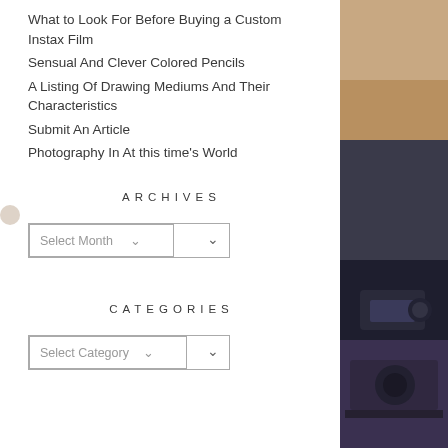What to Look For Before Buying a Custom Instax Film
Sensual And Clever Colored Pencils
A Listing Of Drawing Mediums And Their Characteristics
Submit An Article
Photography In At this time's World
ARCHIVES
Select Month
CATEGORIES
Select Category
[Figure (photo): Partial view of a camera or dark-colored mechanical device against a warm beige background, cropped to the right side of the page]